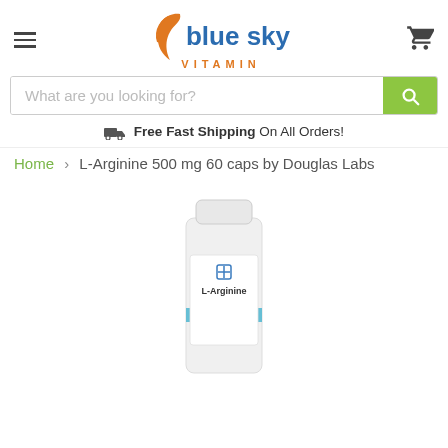blue sky VITAMIN — Free Fast Shipping On All Orders!
What are you looking for?
Free Fast Shipping  On All Orders!
Home > L-Arginine 500 mg 60 caps by Douglas Labs
[Figure (photo): White supplement bottle labeled L-Arginine with a blue stripe and Douglas Labs logo, partially cropped at the bottom of the page.]